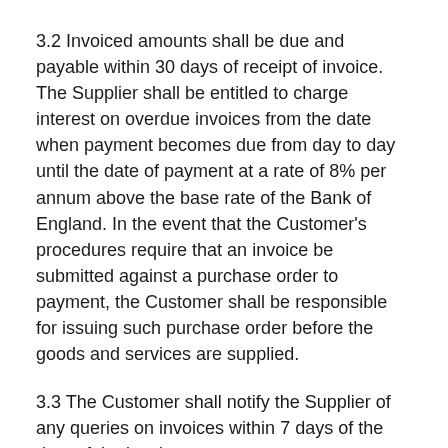3.2 Invoiced amounts shall be due and payable within 30 days of receipt of invoice. The Supplier shall be entitled to charge interest on overdue invoices from the date when payment becomes due from day to day until the date of payment at a rate of 8% per annum above the base rate of the Bank of England. In the event that the Customer's procedures require that an invoice be submitted against a purchase order to payment, the Customer shall be responsible for issuing such purchase order before the goods and services are supplied.
3.3 The Customer shall notify the Supplier of any queries on invoices within 7 days of the date of the invoice.
4 SPECIFICATION OF THE GOODS
All goods shall be required only to conform to the specification in the Specification Document. For the avoidance of doubt no description, specification or